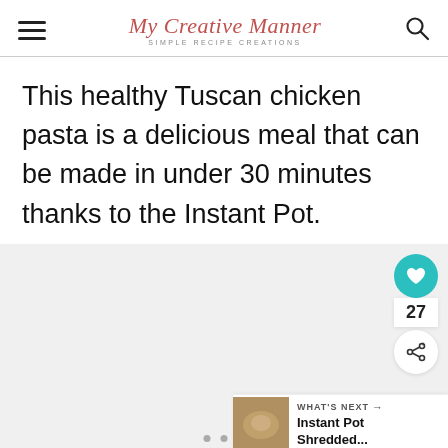My Creative Manner — SIMPLE RECIPE CREATIONS
This healthy Tuscan chicken pasta is a delicious meal that can be made in under 30 minutes thanks to the Instant Pot.
[Figure (other): Light grey content/image placeholder area with navigation dots at bottom center, heart/like button (27 likes) and share button on right side, and a 'What's Next' card in bottom right corner showing Instant Pot Shredded...]